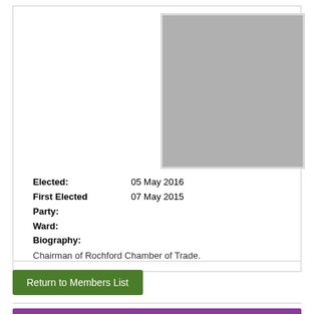[Figure (photo): Grey placeholder photo box for council member portrait]
Elected: 05 May 2016
First Elected 07 May 2015
Party:
Ward:
Biography:
Chairman of Rochford Chamber of Trade.
Return to Members List